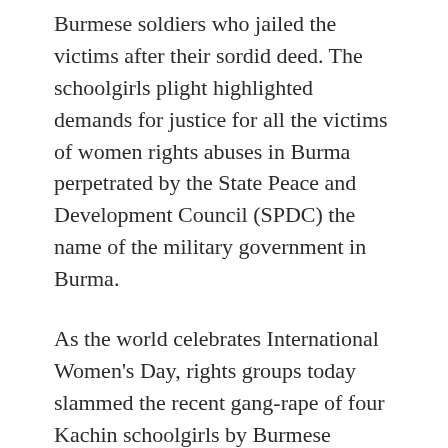Burmese soldiers who jailed the victims after their sordid deed. The schoolgirls plight highlighted demands for justice for all the victims of women rights abuses in Burma perpetrated by the State Peace and Development Council (SPDC) the name of the military government in Burma.
As the world celebrates International Women's Day, rights groups today slammed the recent gang-rape of four Kachin schoolgirls by Burmese soldiers who jailed the victims after their sordid deed. The schoolgirls plight highlighted demands for justice for all the victims of women rights abuses in Burma perpetrated by the State Peace and